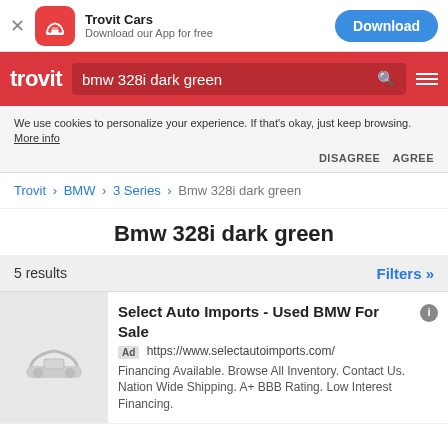[Figure (screenshot): App download banner with Trovit Cars icon and blue Download button]
[Figure (screenshot): Red navigation bar with trovit logo and search box showing 'bmw 328i dark green']
We use cookies to personalize your experience. If that's okay, just keep browsing. More info DISAGREE AGREE
Trovit > BMW > 3 Series > Bmw 328i dark green
Bmw 328i dark green
5 results
Filters »
Select Auto Imports - Used BMW For Sale
Ad https://www.selectautoimports.com/
Financing Available. Browse All Inventory. Contact Us. Nation Wide Shipping. A+ BBB Rating. Low Interest Financing.